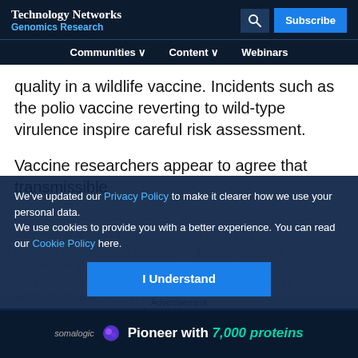Technology Networks / Genomics Research
Communities | Content | Webinars
quality in a wildlife vaccine. Incidents such as the polio vaccine reverting to wild-type virulence inspire careful risk assessment.
Vaccine researchers appear to agree that transmissible vaccines, at least in initial applications should be...
We've updated our Privacy Policy to make it clearer how we use your personal data. We use cookies to provide you with a better experience. You can read our Cookie Policy here.
[Figure (screenshot): Advertisement banner for Somalogic: Pioneer with 7,000 proteins]